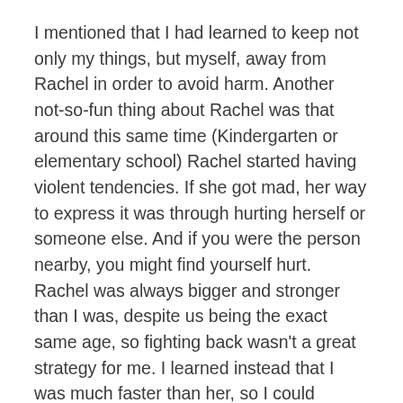I mentioned that I had learned to keep not only my things, but myself, away from Rachel in order to avoid harm. Another not-so-fun thing about Rachel was that around this same time (Kindergarten or elementary school) Rachel started having violent tendencies. If she got mad, her way to express it was through hurting herself or someone else. And if you were the person nearby, you might find yourself hurt. Rachel was always bigger and stronger than I was, despite us being the exact same age, so fighting back wasn't a great strategy for me. I learned instead that I was much faster than her, so I could outrun her if she was trying to attack me. There were still plenty of times though when she would get me by surprise, and being the good girl I was, I knew I shouldn't try to hurt her back. That was SO frustrating to me – it never felt like justice was served. (Probably was the